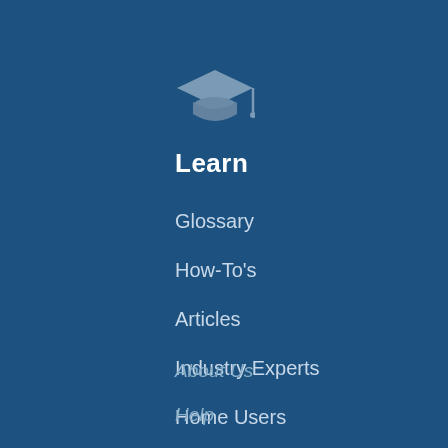[Figure (illustration): Graduation cap (mortarboard) icon in muted blue-grey color on dark blue background]
Learn
Glossary
How-To's
Articles
Industry Experts
Home Users
About Us
Help